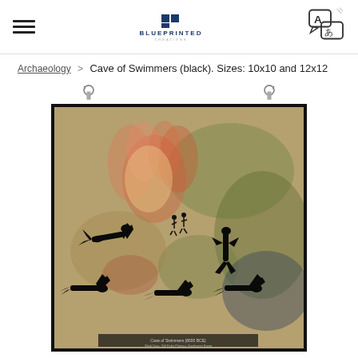BLUEPRINTED — navigation with hamburger menu, logo, and translate icon
Archaeology > Cave of Swimmers (black). Sizes: 10x10 and 12x12
[Figure (photo): Product photo of a poster titled Cave of Swimmers (black), shown hanging from two binder clips against a white background. The poster depicts ancient cave art with silhouettes of swimming human figures on a mottled earthy brown, red, and green background. The poster has a black border/frame.]